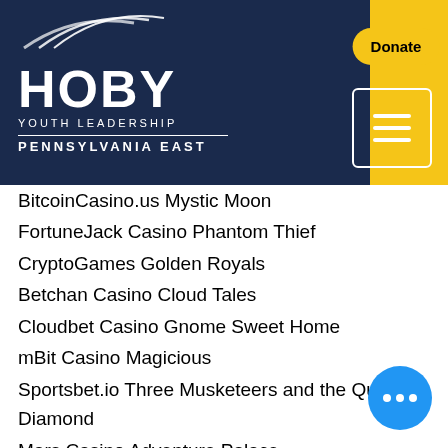[Figure (logo): HOBY Youth Leadership Pennsylvania East logo with navy blue background and yellow bar. Donate button and hamburger menu icon visible.]
BitcoinCasino.us Mystic Moon
FortuneJack Casino Phantom Thief
CryptoGames Golden Royals
Betchan Casino Cloud Tales
Cloudbet Casino Gnome Sweet Home
mBit Casino Magicious
Sportsbet.io Three Musketeers and the Queen's Diamond
Mars Casino Adventure Palace
1xBit Casino Fu Lu Shou
Bitcasino.io Toki Time
Playamo Casino Neon Staxx
1xBit Casino Gold Star
Playamo Casino Lolly Land